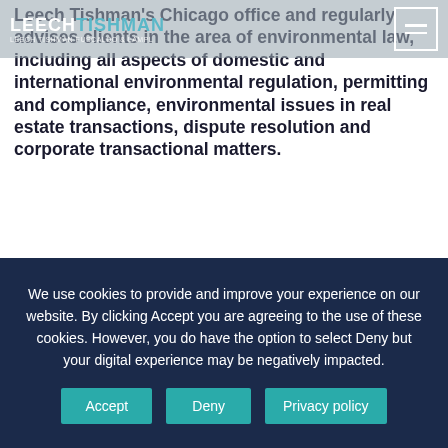LEECHTISHMAN | LEECH TISHMAN FUSCALDO & LAMPL
Leech Tishman's Chicago office and regularly advises clients in the area of environmental law, including all aspects of domestic and international environmental regulation, permitting and compliance, environmental issues in real estate transactions, dispute resolution and corporate transactional matters.
During the course of his 30-year career, Vincent has litigated environmental matters that include CERCLA/Superfund actions and private and
We use cookies to provide and improve your experience on our website. By clicking Accept you are agreeing to the use of these cookies. However, you do have the option to select Deny but your digital experience may be negatively impacted.